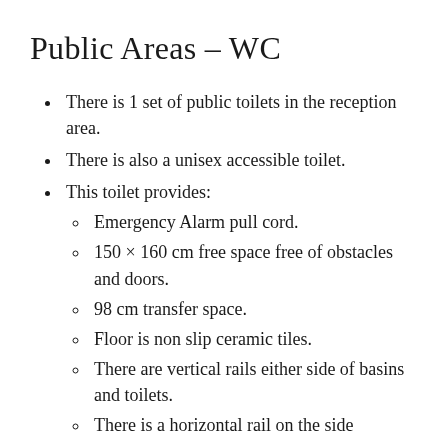Public Areas – WC
There is 1 set of public toilets in the reception area.
There is also a unisex accessible toilet.
This toilet provides:
Emergency Alarm pull cord.
150 × 160 cm free space free of obstacles and doors.
98 cm transfer space.
Floor is non slip ceramic tiles.
There are vertical rails either side of basins and toilets.
There is a horizontal rail on the side